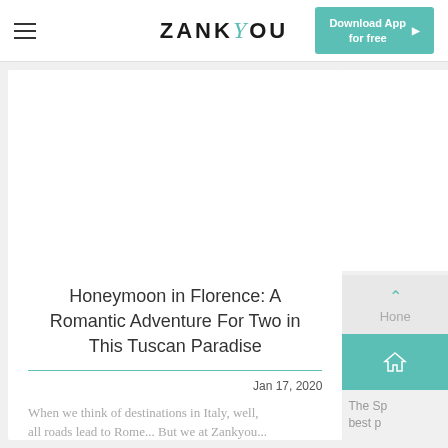ZANKYOU — Download App for free
[Figure (screenshot): Zankyou website screenshot showing navigation bar with hamburger menu, ZANKYOU logo, and Download App for free button]
Honeymoon in Florence: A Romantic Adventure For Two in This Tuscan Paradise
Jan 17, 2020
When we think of destinations in Italy, well, all roads lead to Rome... But we at Zankyou...